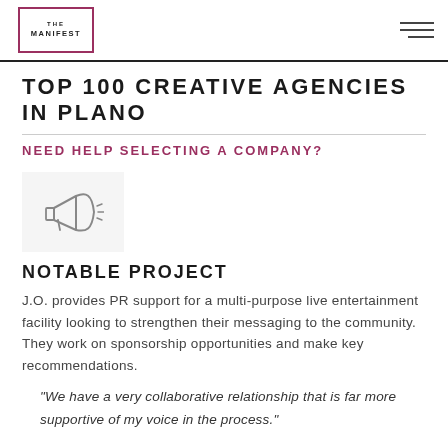THE MANIFEST
TOP 100 CREATIVE AGENCIES IN PLANO
NEED HELP SELECTING A COMPANY?
[Figure (illustration): Megaphone / loudspeaker icon in light gray on a light gray card background]
NOTABLE PROJECT
J.O. provides PR support for a multi-purpose live entertainment facility looking to strengthen their messaging to the community. They work on sponsorship opportunities and make key recommendations.
"We have a very collaborative relationship that is far more supportive of my voice in the process."